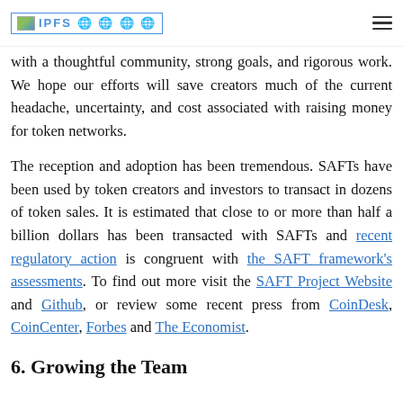IPFS [logo] [hamburger menu]
with a thoughtful community, strong goals, and rigorous work. We hope our efforts will save creators much of the current headache, uncertainty, and cost associated with raising money for token networks.
The reception and adoption has been tremendous. SAFTs have been used by token creators and investors to transact in dozens of token sales. It is estimated that close to or more than half a billion dollars has been transacted with SAFTs and recent regulatory action is congruent with the SAFT framework's assessments. To find out more visit the SAFT Project Website and Github, or review some recent press from CoinDesk, CoinCenter, Forbes and The Economist.
6. Growing the Team